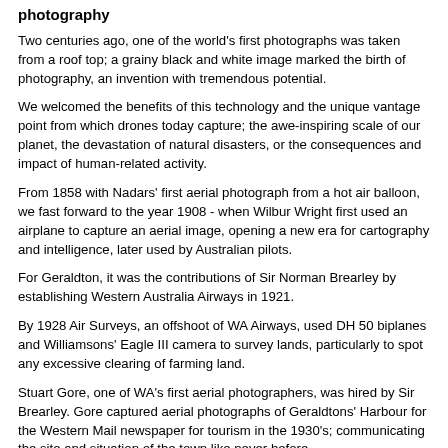photography
Two centuries ago, one of the world's first photographs was taken from a roof top; a grainy black and white image marked the birth of photography, an invention with tremendous potential.
We welcomed the benefits of this technology and the unique vantage point from which drones today capture; the awe-inspiring scale of our planet, the devastation of natural disasters, or the consequences and impact of human-related activity.
From 1858 with Nadars' first aerial photograph from a hot air balloon, we fast forward to the year 1908 - when Wilbur Wright first used an airplane to capture an aerial image, opening a new era for cartography and intelligence, later used by Australian pilots.
For Geraldton, it was the contributions of Sir Norman Brearley by establishing Western Australia Airways in 1921.
By 1928 Air Surveys, an offshoot of WA Airways, used DH 50 biplanes and Williamsons' Eagle III camera to survey lands, particularly to spot any excessive clearing of farming land.
Stuart Gore, one of WA's first aerial photographers, was hired by Sir Brearley. Gore captured aerial photographs of Geraldtons' Harbour for the Western Mail newspaper for tourism in the 1930's; communicating the site and situation of the town like never before.